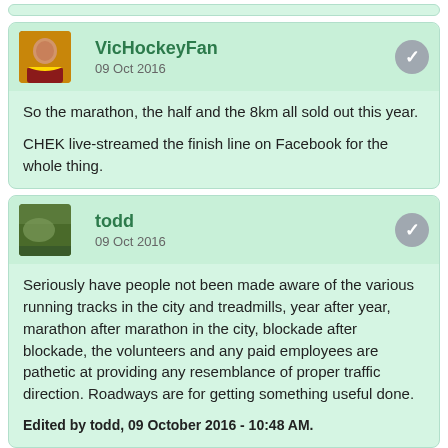VicHockeyFan
09 Oct 2016
So the marathon, the half and the 8km all sold out this year.
CHEK live-streamed the finish line on Facebook for the whole thing.
todd
09 Oct 2016
Seriously have people not been made aware of the various running tracks in the city and treadmills, year after year, marathon after marathon in the city, blockade after blockade, the volunteers and any paid employees are pathetic at providing any resemblance of proper traffic direction. Roadways are for getting something useful done.
Edited by todd, 09 October 2016 - 10:48 AM.
North Shore
09 Oct 2016